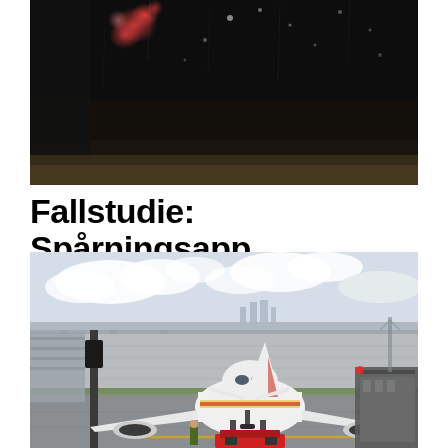[Figure (photo): Dark background photo, appears to be a rainy or wet window at night with red flowers or bokeh lights visible, urban setting]
Fallstudie: Spårningsapp
[Figure (photo): Airport tarmac photo showing a white commercial airplane (Iberia livery) being towed by a red ground vehicle, jet bridge on right, highway overpass and city skyline in background, cloudy sky]